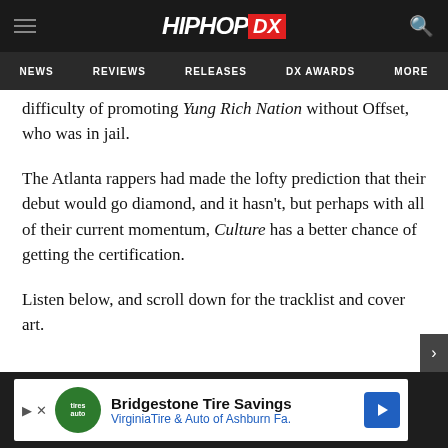HipHopDX — NEWS | REVIEWS | RELEASES | DX AWARDS | MORE
difficulty of promoting Yung Rich Nation without Offset, who was in jail.
The Atlanta rappers had made the lofty prediction that their debut would go diamond, and it hasn't, but perhaps with all of their current momentum, Culture has a better chance of getting the certification.
Listen below, and scroll down for the tracklist and cover art.
[Figure (other): Bridgestone Tire Savings advertisement banner — VirginiaTire & Auto of Ashburn Fa.]